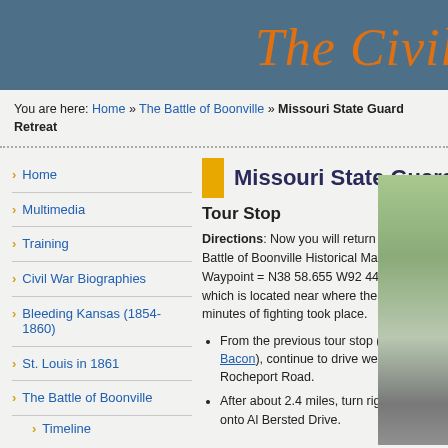The Civil [War — partially visible]
You are here: Home » The Battle of Boonville » Missouri State Guard Retreat
Missouri State Guard R[etreat]
Tour Stop
Directions: Now you will return to the Battle of Boonville Historical Marker [ Waypoint = N38 58.655 W92 44.027 ], which is located near where the final few minutes of fighting took place.
From the previous tour stop (Camp Bacon), continue to drive west on Rocheport Road.
After about 2.4 miles, turn right (north) onto Al Bersted Drive.